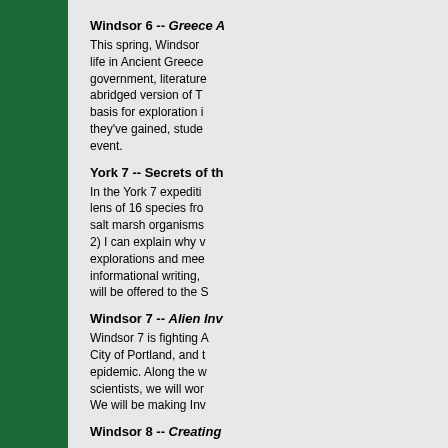Windsor 6 -- Greece A...
This spring, Windsor life in Ancient Greece government, literature abridged version of T basis for exploration i they've gained, stude event.
York 7 -- Secrets of th...
In the York 7 expediti lens of 16 species fro salt marsh organisms 2) I can explain why v explorations and mee informational writing, will be offered to the S
Windsor 7 -- Alien Inv...
Windsor 7 is fighting A City of Portland, and t epidemic. Along the w scientists, we will wor We will be making Inv
Windsor 8 -- Creating...